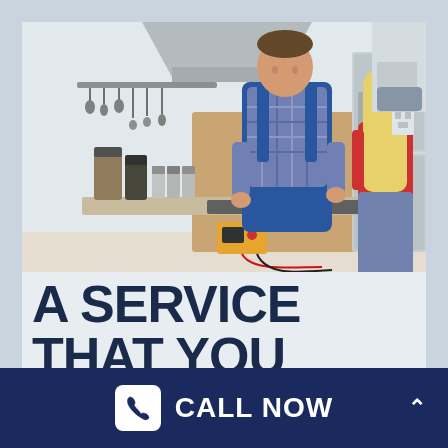[Figure (photo): A technician in blue overalls and plaid shirt working on a kitchen stovetop/cooktop with a multimeter, while a blonde woman in a red sleeveless top and jeans watches. Kitchen has hanging utensils, food canisters, herb jars, a range hood, and a refrigerator in the background.]
A SERVICE THAT YOU CAN TRUST
CALL NOW